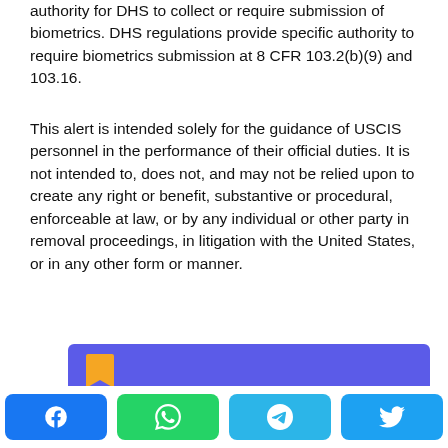authority for DHS to collect or require submission of biometrics. DHS regulations provide specific authority to require biometrics submission at 8 CFR 103.2(b)(9) and 103.16.
This alert is intended solely for the guidance of USCIS personnel in the performance of their official duties. It is not intended to, does not, and may not be relied upon to create any right or benefit, substantive or procedural, enforceable at law, or by any individual or other party in removal proceedings, in litigation with the United States, or in any other form or manner.
[Figure (other): Purple/blue rounded rectangle banner with a gold bookmark icon in the top-left and white text 'Get Visa' centered.]
Social share buttons: Facebook, WhatsApp, Telegram, Twitter